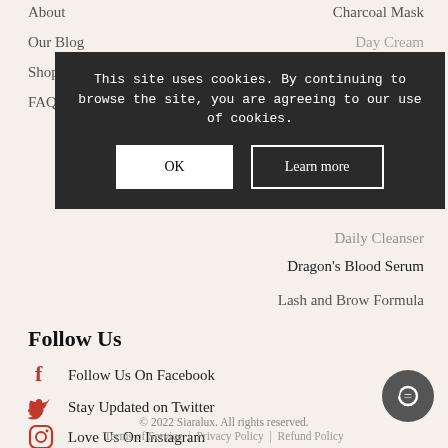About
Our Blog
Shop
FAQ
Charcoal Mask
Day Cream
Night Cream
[Figure (screenshot): Cookie consent banner overlay on dark background with text 'This site uses cookies. By continuing to browse the site, you are agreeing to our use of cookies.' and two buttons: OK and Learn more]
Daily Cleanser
Dragon's Blood Serum
Lash and Brow Formula
Follow Us
Follow Us On Facebook
Stay Updated on Twitter
Love Us On Instagram
© 2022 Siaralux. All rights reserved.
Terms of Service | Privacy Policy | Refund Policy